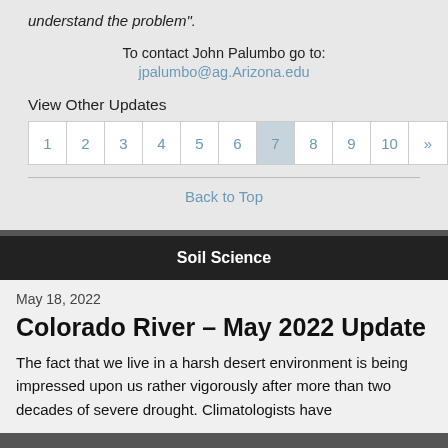understand the problem".
To contact John Palumbo go to: jpalumbo@ag.Arizona.edu
View Other Updates
1 2 3 4 5 6 7 8 9 10 »
Back to Top
Soil Science
May 18, 2022
Colorado River – May 2022 Update
The fact that we live in a harsh desert environment is being impressed upon us rather vigorously after more than two decades of severe drought.  Climatologists have